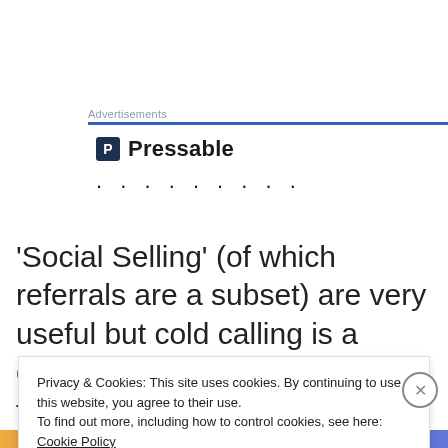Advertisements
[Figure (logo): Pressable logo with blue square P icon and bold text 'Pressable' followed by dotted line]
'Social Selling' (of which referrals are a subset) are very useful but cold calling is a crucial skill when your ideal future client sits outside your
Privacy & Cookies: This site uses cookies. By continuing to use this website, you agree to their use.
To find out more, including how to control cookies, see here: Cookie Policy
Close and accept